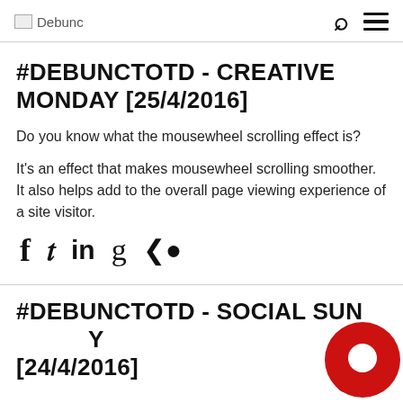Debunc
#DEBUNCTOTD - CREATIVE MONDAY [25/4/2016]
Do you know what the mousewheel scrolling effect is?
It's an effect that makes mousewheel scrolling smoother. It also helps add to the overall page viewing experience of a site visitor.
[Figure (infographic): Social share icons: Facebook, Twitter, LinkedIn, Google+, Share]
#DEBUNCTOTD - SOCIAL SUNDAY [24/4/2016]